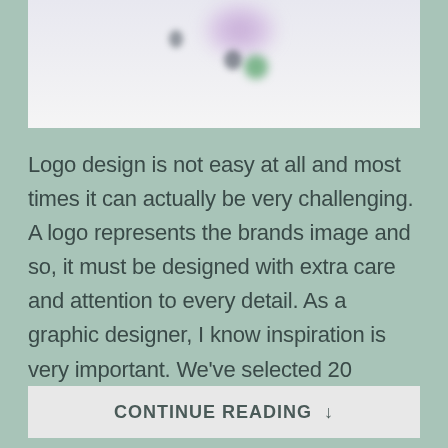[Figure (photo): Partial blurred image of colorful logos or design elements on a light background]
Logo design is not easy at all and most times it can actually be very challenging. A logo represents the brands image and so, it must be designed with extra care and attention to every detail. As a graphic designer, I know inspiration is very important. We’ve selected 20 creative and colorful logos, to inspire…
CONTINUE READING ↓